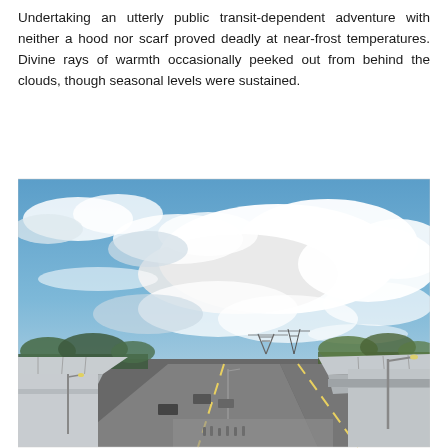Undertaking an utterly public transit-dependent adventure with neither a hood nor scarf proved deadly at near-frost temperatures. Divine rays of warmth occasionally peeked out from behind the clouds, though seasonal levels were sustained.
[Figure (photo): Outdoor photograph of a transit station or bus terminal with a wide road/highway in the foreground, modernist white architectural canopy structures on both sides, electric transmission towers in the background, parked vehicles, street lamps, autumn trees, and a dramatic blue sky filled with large white cumulus clouds.]